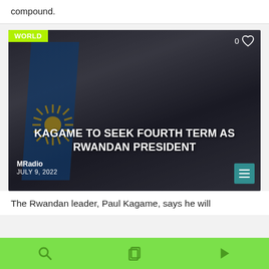compound.
[Figure (photo): News article card with photo of Paul Kagame sitting and gesturing, with Rwandan flag in background. Overlay text: 'KAGAME TO SEEK FOURTH TERM AS RWANDAN PRESIDENT'. Source: MRadio, JULY 9, 2022. Category tag: WORLD.]
The Rwandan leader, Paul Kagame, says he will